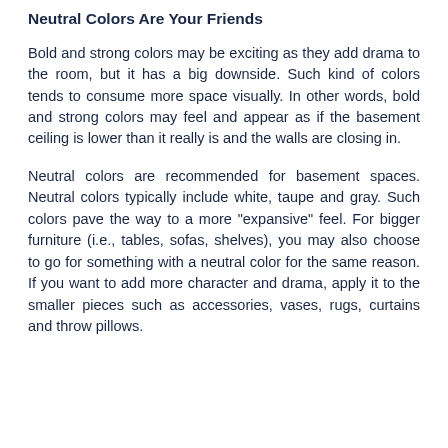Neutral Colors Are Your Friends
Bold and strong colors may be exciting as they add drama to the room, but it has a big downside. Such kind of colors tends to consume more space visually. In other words, bold and strong colors may feel and appear as if the basement ceiling is lower than it really is and the walls are closing in.
Neutral colors are recommended for basement spaces. Neutral colors typically include white, taupe and gray. Such colors pave the way to a more "expansive" feel. For bigger furniture (i.e., tables, sofas, shelves), you may also choose to go for something with a neutral color for the same reason. If you want to add more character and drama, apply it to the smaller pieces such as accessories, vases, rugs, curtains and throw pillows.